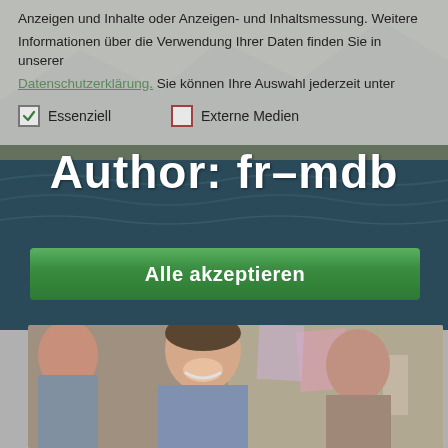Anzeigen und Inhalte oder Anzeigen- und Inhaltsmessung. Weitere Informationen über die Verwendung Ihrer Daten finden Sie in unserer Datenschutzerklärung. Sie können Ihre Auswahl jederzeit unter
Essenziell
Externe Medien
Author: fr-mdb
Alle akzeptieren
[Figure (photo): Photo of smiling people in an office/collaborative environment, partially visible at bottom of page]